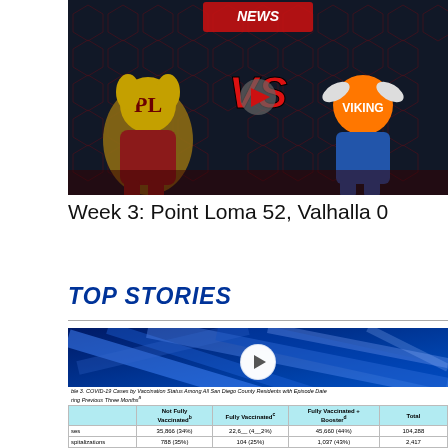[Figure (screenshot): Video thumbnail showing Point Loma vs Valhalla football matchup with mascots and VS graphic on dark hexagon background]
Week 3: Point Loma 52, Valhalla 0
TOP STORIES
[Figure (screenshot): News video thumbnail showing COVID-19 Cases by Vaccination Status Among All San Diego County Residents table with play button overlay]
|  | Not Fully Vaccinated | Fully Vaccinated | Fully Vaccinated + Booster | Total |
| --- | --- | --- | --- | --- |
| Cases | 35,866 (34%) | 22,6__ (4__2%) | 45,660 (44%) | 104,288 |
| Hospitalizations | 788 (35%) | 104 (25%) | 1,037 (43%) | 2,417 |